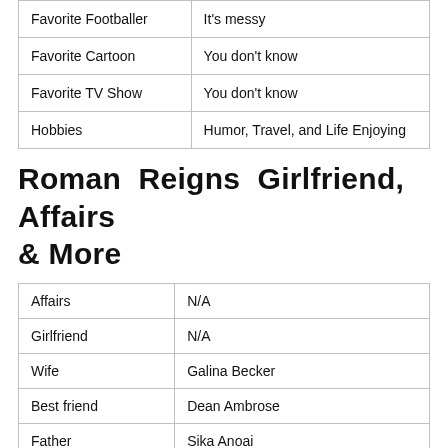| Favorite Footballer | It's messy |
| Favorite Cartoon | You don't know |
| Favorite TV Show | You don't know |
| Hobbies | Humor, Travel, and Life Enjoying |
Roman Reigns Girlfriend, Affairs & More
| Affairs | N/A |
| Girlfriend | N/A |
| Wife | Galina Becker |
| Best friend | Dean Ambrose |
| Father | Sika Anoai |
| Mother | Patricia A. Anoa'i |
| Brothers | Rosey |